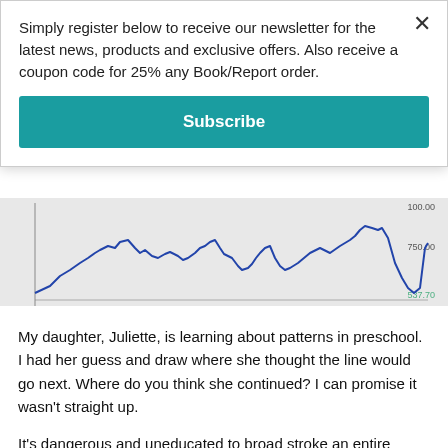Simply register below to receive our newsletter for the latest news, products and exclusive offers. Also receive a coupon code for 25% any Book/Report order.
Subscribe
[Figure (continuous-plot): Partial stock/index line chart showing a blue irregular line with values around 750-1000, with y-axis labels 100.00, 750.00, and 537.70 in green at the bottom. Background is light gray.]
My daughter, Juliette, is learning about patterns in preschool. I had her guess and draw where she thought the line would go next. Where do you think she continued? I can promise it wasn't straight up.
It's dangerous and uneducated to broad stroke an entire group of anything as being all good or all bad. Not all Whole Life Insurance is bad for everyone. Not all Mutual